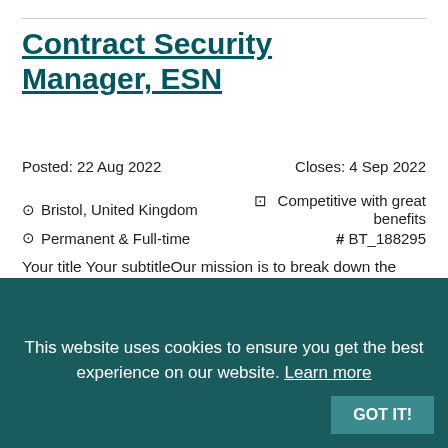Contract Security Manager, ESN
Posted: 22 Aug 2022     Closes: 4 Sep 2022
⊞ Bristol, United Kingdom   ⊞ Competitive with great benefits
○ Permanent & Full-time   # BT_188295
Your title Your subtitleOur mission is to break down the barriers of today to release the potential of tomorrow. Join us today and release yours.There are two things that we want to share with anyone considering joining us.Firstly, we've got big ambitions for our colleagues and the future of the organisation. These inclu...
This website uses cookies to ensure you get the best experience on our website. Learn more
GOT IT!